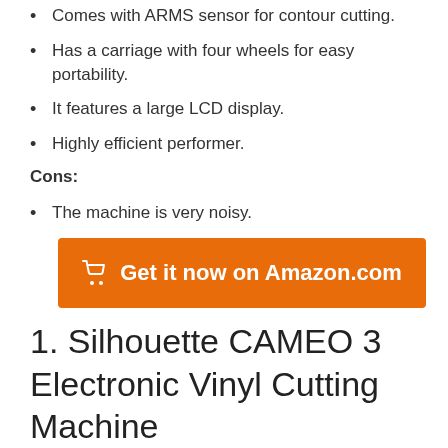Comes with ARMS sensor for contour cutting.
Has a carriage with four wheels for easy portability.
It features a large LCD display.
Highly efficient performer.
Cons:
The machine is very noisy.
[Figure (infographic): Orange button with shopping cart icon and text: Get it now on Amazon.com]
1. Silhouette CAMEO 3 Electronic Vinyl Cutting Machine